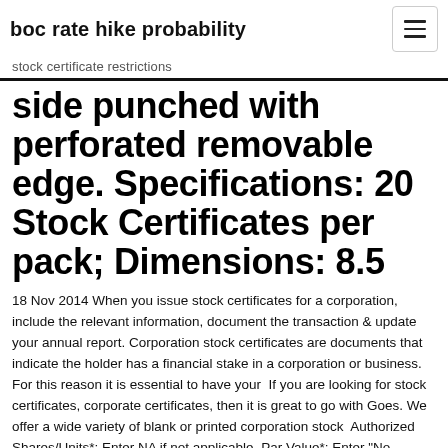boc rate hike probability
stock certificate restrictions
side punched with perforated removable edge. Specifications: 20 Stock Certificates per pack; Dimensions: 8.5
18 Nov 2014 When you issue stock certificates for a corporation, include the relevant information, document the transaction & update your annual report. Corporation stock certificates are documents that indicate the holder has a financial stake in a corporation or business. For this reason it is essential to have your  If you are looking for stock certificates, corporate certificates, then it is great to go with Goes. We offer a wide variety of blank or printed corporation stock  Authorized Shares/Units*: Enter NA if not applicable. Par Value*: Enter "No